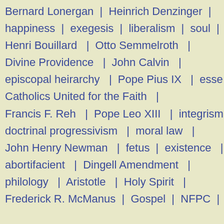Bernard Lonergan | Heinrich Denzinger |
happiness | exegesis | liberalism | soul |
Henri Bouillard | Otto Semmelroth |
Divine Providence | John Calvin |
episcopal heirarchy | Pope Pius IX | esse |
Catholics United for the Faith |
Francis F. Reh | Pope Leo XIII | integrism |
doctrinal progressivism | moral law |
John Henry Newman | fetus | existence |
abortifacient | Dingell Amendment |
philology | Aristotle | Holy Spirit |
Frederick R. McManus | Gospel | NFPC |